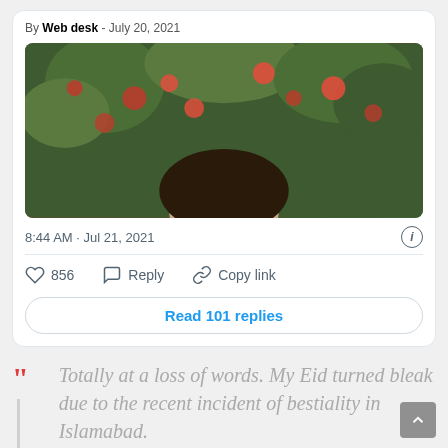By Web desk - July 20, 2021
[Figure (photo): A person partially visible from forehead/top of head, surrounded by red and green foliage in the background]
8:44 AM · Jul 21, 2021
856   Reply   Copy link
Read 101 replies
Totally at a loss of words. My Eid turned bleak due to the recent incident of bestiality in Islamabad.